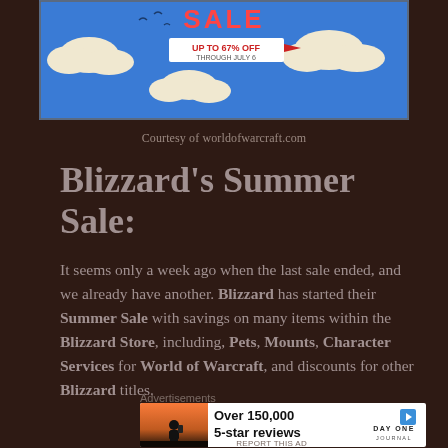[Figure (illustration): Blizzard Summer Sale banner with blue sky, clouds, and 'SALE UP TO 67% OFF' text on a flag]
Courtesy of worldofwarcraft.com
Blizzard's Summer Sale:
It seems only a week ago when the last sale ended, and we already have another. Blizzard has started their Summer Sale with savings on many items within the Blizzard Store, including, Pets, Mounts, Character Services for World of Warcraft, and discounts for other Blizzard titles.
Advertisements
[Figure (screenshot): Day One Journal advertisement: 'Over 150,000 5-star reviews' with photo of person and Day One logo]